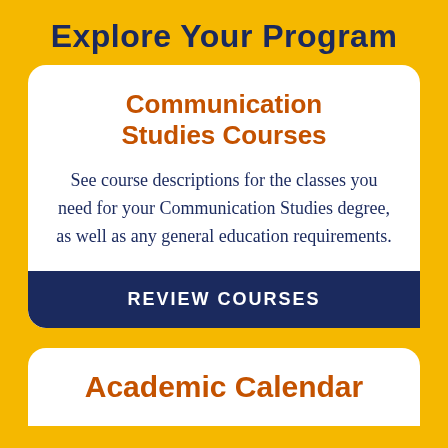Explore Your Program
Communication Studies Courses
See course descriptions for the classes you need for your Communication Studies degree, as well as any general education requirements.
REVIEW COURSES
Academic Calendar